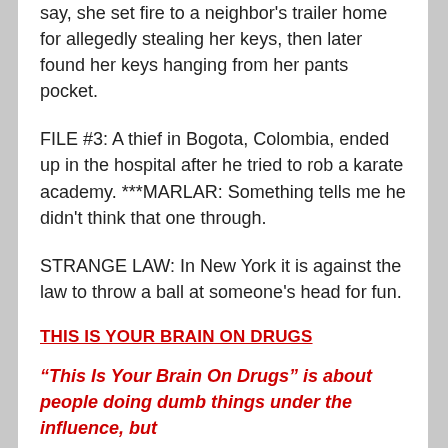say, she set fire to a neighbor's trailer home for allegedly stealing her keys, then later found her keys hanging from her pants pocket.
FILE #3: A thief in Bogota, Colombia, ended up in the hospital after he tried to rob a karate academy. ***MARLAR: Something tells me he didn't think that one through.
STRANGE LAW: In New York it is against the law to throw a ball at someone's head for fun.
THIS IS YOUR BRAIN ON DRUGS
“This Is Your Brain On Drugs” is about people doing dumb things under the influence, but